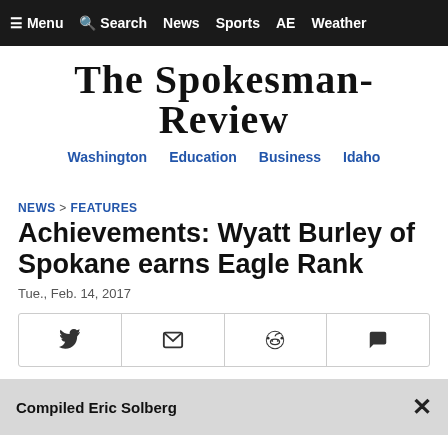≡ Menu   🔍 Search   News   Sports   AE   Weather
The Spokesman-Review
Washington   Education   Business   Idaho
NEWS > FEATURES
Achievements: Wyatt Burley of Spokane earns Eagle Rank
Tue., Feb. 14, 2017
Compiled Eric Solberg